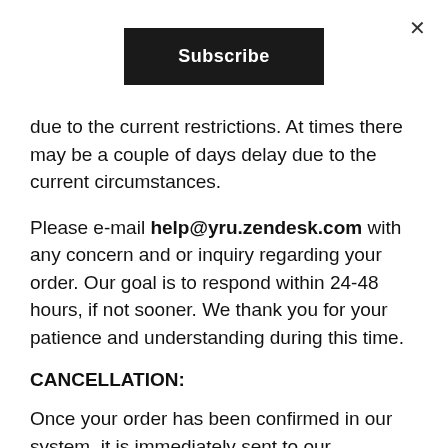×
Subscribe
due to the current restrictions. At times there may be a couple of days delay due to the current circumstances.
Please e-mail help@yru.zendesk.com with any concern and or inquiry regarding your order. Our goal is to respond within 24-48 hours, if not sooner. We thank you for your patience and understanding during this time.
CANCELLATION:
Once your order has been confirmed in our system, it is immediately sent to our warehouse for order processing. Due to this, we are unable to modify or cancel your order once it has been submitted in our system.